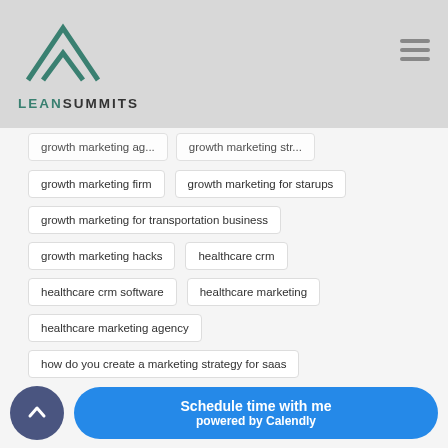LEANSUMMITS
growth marketing firm
growth marketing for starups
growth marketing for transportation business
growth marketing hacks
healthcare crm
healthcare crm software
healthcare marketing
healthcare marketing agency
how do you create a marketing strategy for saas
logistics company marketing strategy
Logistics Marketing Strategy
marketing for saas
marketing strategy for logistics company
Organic Growth Marketing
Schedule time with me powered by Calendly